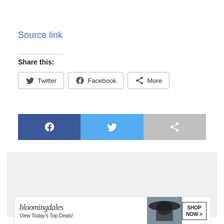Source link
Share this:
[Figure (screenshot): Share buttons row with Twitter, Facebook, and More options with icons]
[Figure (screenshot): Social media sharing bar with Facebook (dark blue), Twitter (light blue), and share (gray) icon buttons]
[Figure (screenshot): Advertisement area - light gray box with CLOSE button and Bloomingdales ad at bottom showing 'View Today's Top Deals!' with SHOP NOW >]